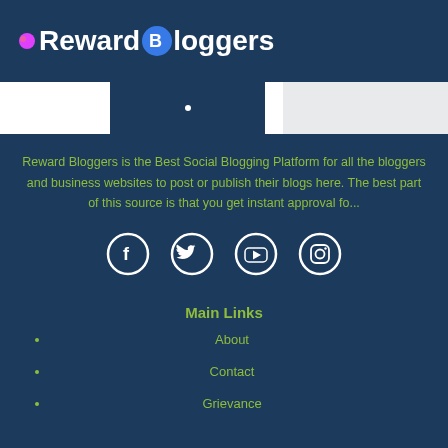Reward Bloggers
Reward Bloggers is the Best Social Blogging Platform for all the bloggers and business websites to post or publish their blogs here. The best part of this source is that you get instant approval fo...
[Figure (infographic): Social media icons: Facebook, Twitter, YouTube, Instagram — white circle outlines on dark navy background]
Main Links
About
Contact
Grievance